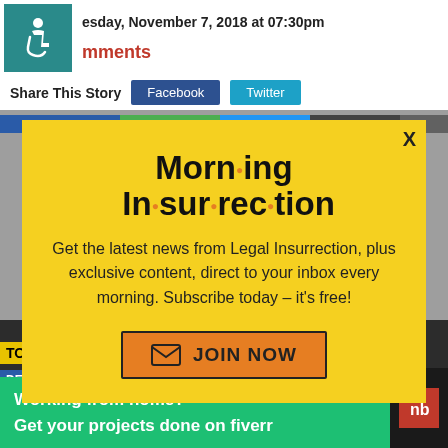esday, November 7, 2018 at 07:30pm
mments
Share This Story
[Figure (screenshot): Modal popup newsletter signup for Morning Insurrection on a webpage screenshot background]
Morn·ing In·sur·rec·tion
Get the latest news from Legal Insurrection, plus exclusive content, direct to your inbox every morning. Subscribe today – it's free!
JOIN NOW
Working from home? Get your projects done on fiverr